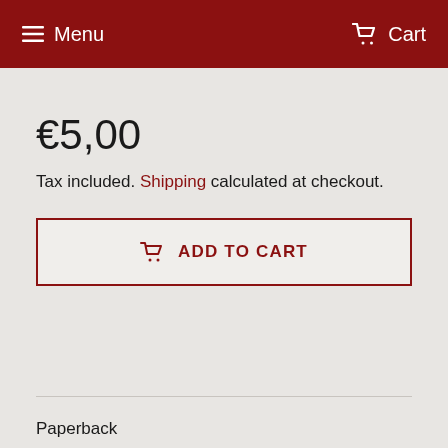Menu  Cart
€5,00
Tax included. Shipping calculated at checkout.
ADD TO CART
Paperback
Condition: New
The Pax Romana is famous for having provided a remarkable period of peace and stability, and has long been a source of envy. Yet